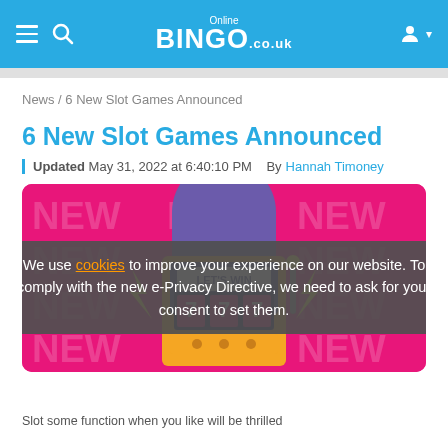Online BINGO .co.uk
News / 6 New Slot Games Announced
6 New Slot Games Announced
Updated May 31, 2022 at 6:40:10 PM  By Hannah Timoney
[Figure (illustration): Slot machine illustration on pink background with '777' and 'LET'S WIN' text and lightning bolt graphics, with repeating 'NEW' watermark text]
We use cookies to improve your experience on our website. To comply with the new e-Privacy Directive, we need to ask for your consent to set them.
I Agree
Slot some function when you like will be thrilled